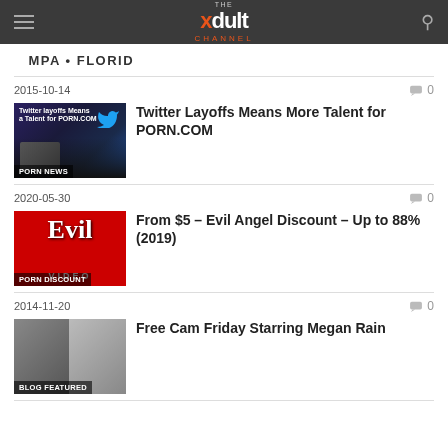THE xdult CHANNEL
TAMPA • FLORIDA
2015-10-14  0
[Figure (photo): Thumbnail image with PORN NEWS label]
Twitter Layoffs Means More Talent for PORN.COM
2020-05-30  0
[Figure (photo): Evil Angel thumbnail with PORN DISCOUNT label]
From $5 – Evil Angel Discount – Up to 88% (2019)
2014-11-20  0
[Figure (photo): Cam Friday thumbnail with BLOG FEATURED label]
Free Cam Friday Starring Megan Rain